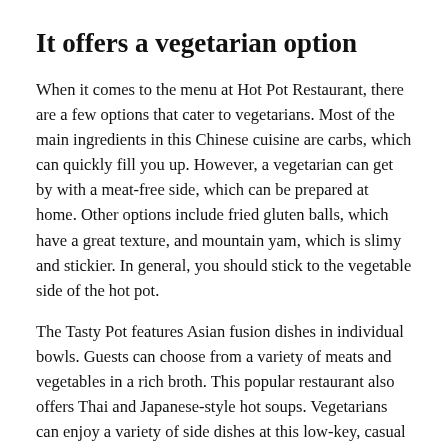It offers a vegetarian option
When it comes to the menu at Hot Pot Restaurant, there are a few options that cater to vegetarians. Most of the main ingredients in this Chinese cuisine are carbs, which can quickly fill you up. However, a vegetarian can get by with a meat-free side, which can be prepared at home. Other options include fried gluten balls, which have a great texture, and mountain yam, which is slimy and stickier. In general, you should stick to the vegetable side of the hot pot.
The Tasty Pot features Asian fusion dishes in individual bowls. Guests can choose from a variety of meats and vegetables in a rich broth. This popular restaurant also offers Thai and Japanese-style hot soups. Vegetarians can enjoy a variety of side dishes at this low-key, casual restaurant. You can also order rice with your soup. You'll be sure to have a great time here!